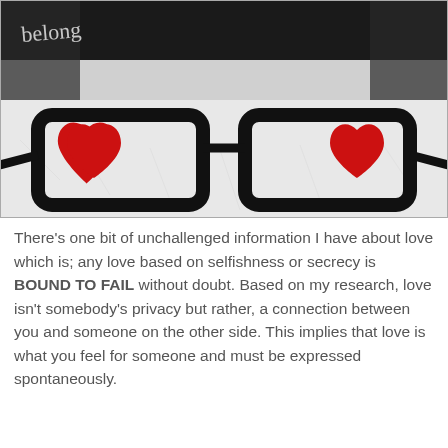[Figure (photo): Black and white photo of eyeglasses lying on a fuzzy white surface with two red heart shapes placed in the lenses. A handwritten watermark 'belong' is in the top left corner.]
There's one bit of unchallenged information I have about love which is; any love based on selfishness or secrecy is BOUND TO FAIL without doubt. Based on my research, love isn't somebody's privacy but rather, a connection between you and someone on the other side. This implies that love is what you feel for someone and must be expressed spontaneously.